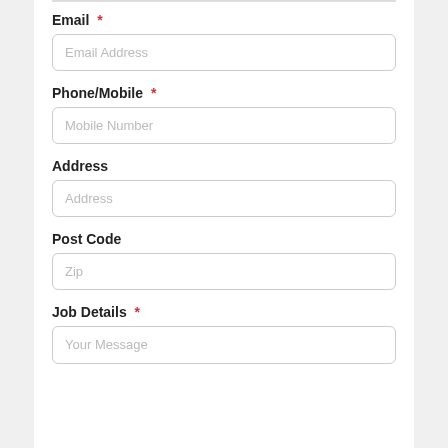Email *
Email Address (placeholder)
Phone/Mobile *
Mobile Number (placeholder)
Address
Address (placeholder)
Post Code
Zip (placeholder)
Job Details *
Your Message (placeholder)